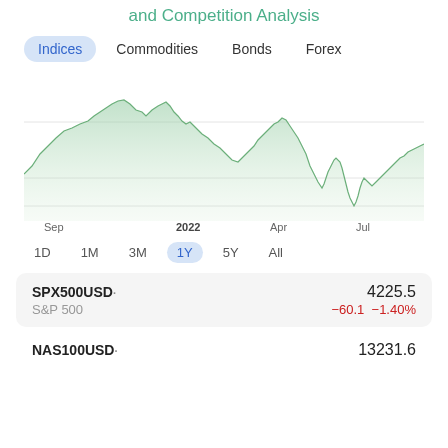and Competition Analysis
Indices  Commodities  Bonds  Forex
[Figure (area-chart): SPX500 1-year area chart showing price movement from Sep 2021 through Jul 2022, with peak around Jan 2022 and sharp decline to low in mid-2022 followed by partial recovery]
1D  1M  3M  1Y  5Y  All
| Ticker | Value | Change | Change% |
| --- | --- | --- | --- |
| SPX500USD· | 4225.5 | −60.1 | −1.40% |
| NAS100USD· | 13231.6 |  |  |